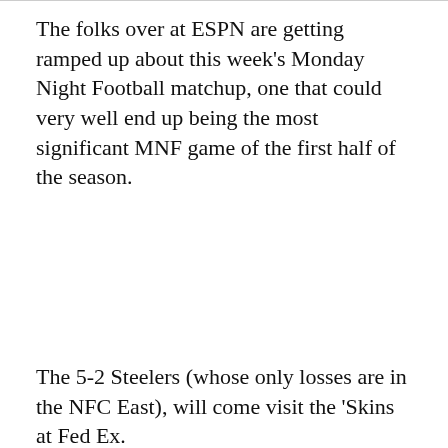The folks over at ESPN are getting ramped up about this week's Monday Night Football matchup, one that could very well end up being the most significant MNF game of the first half of the season.
AD
The 5-2 Steelers (whose only losses are in the NFC East), will come visit the 'Skins at Fed Ex.